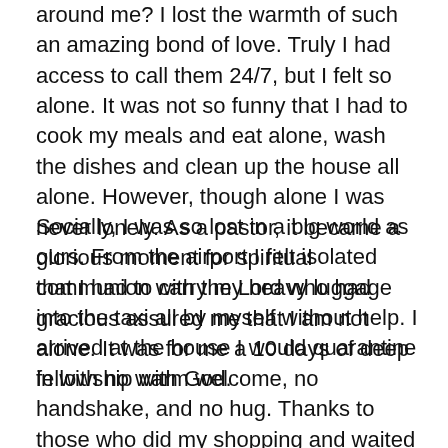around me? I lost the warmth of such an amazing bond of love. Truly I had access to call them 24/7, but I felt so alone. It was not so funny that I had to cook my meals and eat alone, wash the dishes and clean up the house all alone. However, though alone I was never lonely. As a pastor, it became a glorious moment for spiritual communion with the Lord who had gracious assured me that I am not alone. It was for me a 10 days of deep fellowship with God.
Socially, I was so lost in a big world as ours. From the airport I felt isolated that I had to carry my heavy luggage into the taxi all by myself without help. I arrived at the house I would quarantine in with no warm welcome, no handshake, and no hug. Thanks to those who did my shopping and waited for my arrival, but could only welcome me from a distance. This was strange and not cultural for me as an African. I lost the warmth of meeting someone you had longed to meet. It was so painful that as soon as I entered the house I locked myself in. I couldn't step out of the property, I had no neighbour to talk with, I couldn't attend church services/activities except online. I couldn't go to school for classes or interactions either. It